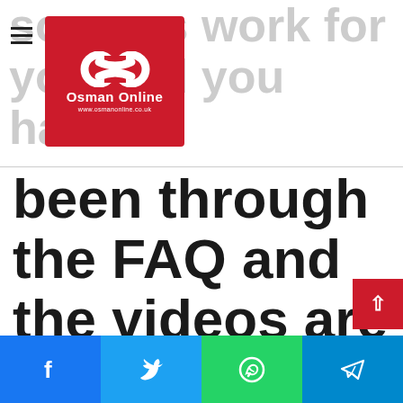sources work for you and you have
[Figure (logo): Osman Online logo — red square with infinity symbol and text 'Osman Online' and website URL]
been through the FAQ and the videos are still giving you issues then maybe our exclusive paid service is for you
[Figure (other): Social share bar with Facebook, Twitter, WhatsApp, and Telegram icons]
[Figure (other): Red scroll-to-top button with up arrow]